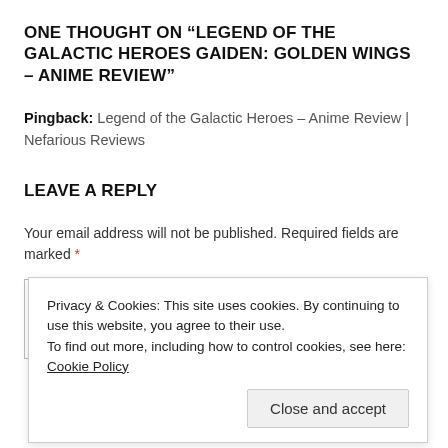ONE THOUGHT ON “LEGEND OF THE GALACTIC HEROES GAIDEN: GOLDEN WINGS – ANIME REVIEW”
Pingback: Legend of the Galactic Heroes – Anime Review | Nefarious Reviews
LEAVE A REPLY
Your email address will not be published. Required fields are marked *
Privacy & Cookies: This site uses cookies. By continuing to use this website, you agree to their use.
To find out more, including how to control cookies, see here: Cookie Policy
Close and accept